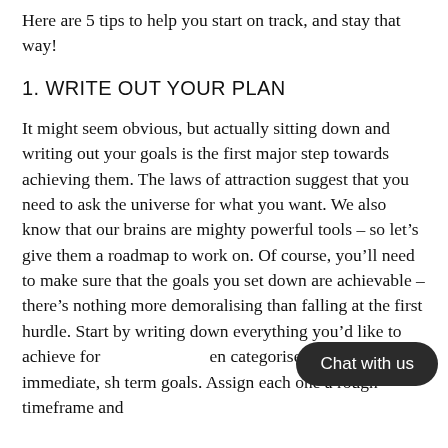Here are 5 tips to help you start on track, and stay that way!
1. WRITE OUT YOUR PLAN
It might seem obvious, but actually sitting down and writing out your goals is the first major step towards achieving them. The laws of attraction suggest that you need to ask the universe for what you want. We also know that our brains are mighty powerful tools – so let's give them a roadmap to work on. Of course, you'll need to make sure that the goals you set down are achievable – there's nothing more demoralising than falling at the first hurdle. Start by writing down everything you'd like to achieve for [Chat with us] en categorise them into immediate, sh term goals. Assign each one a rough timeframe and